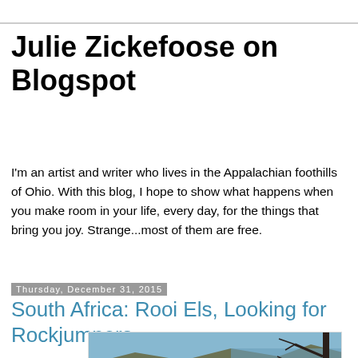Julie Zickefoose on Blogspot
I'm an artist and writer who lives in the Appalachian foothills of Ohio. With this blog, I hope to show what happens when you make room in your life, every day, for the things that bring you joy. Strange...most of them are free.
Thursday, December 31, 2015
South Africa: Rooi Els, Looking for Rockjumpers
[Figure (photo): Photograph of rocky mountainside with bare tree branches in foreground and blue ocean/sky in background, taken at Rooi Els, South Africa]